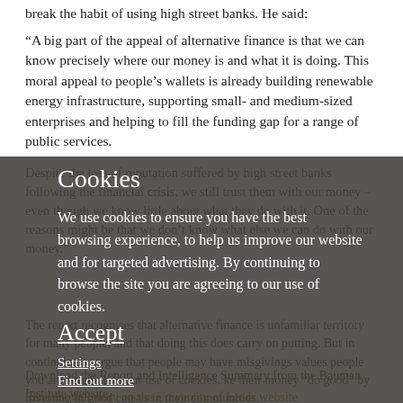break the habit of using high street banks. He said:
“A big part of the appeal of alternative finance is that we can know precisely where our money is and what it is doing. This moral appeal to people’s wallets is already building renewable energy infrastructure, supporting small- and medium-sized enterprises and helping to fill the funding gap for a range of public services.
Despite the loss of reputation suffered by high street banks following the financial crisis, we still trust them with our money – even though we know little about what they do with it. One of the reasons might be that we don’t know what else we can do with our money.”
The report recognises that alternative finance is unfamiliar territory for many people, and that doing this does carry on putting. But in continuing to argue that people may have misgivings about values people you are agreeing to our use of cookies make their money “do good” by investing in good causes in their communities.
Download the Report and Intelligence Summary from the Bauman Institute website
Read the full story on the University of Leeds website
Cookies
We use cookies to ensure you have the best browsing experience, to help us improve our website and for targeted advertising. By continuing to browse the site you are agreeing to our use of cookies.
Accept
Settings
Find out more